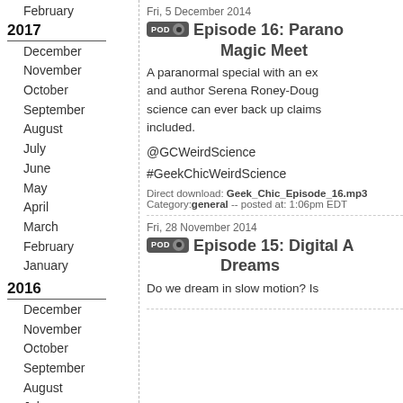February
2017
December
November
October
September
August
July
June
May
April
March
February
January
2016
December
November
October
September
August
July
March
February
January
2015
December
November
October
September
Fri, 5 December 2014
Episode 16: Parano... Magic Meet
A paranormal special with an ex... and author Serena Roney-Doug... science can ever back up claims... included.
@GCWeirdScience
#GeekChicWeirdScience
Direct download: Geek_Chic_Episode_16.mp3 Category: general -- posted at: 1:06pm EDT
Fri, 28 November 2014
Episode 15: Digital A... Dreams
Do we dream in slow motion? Is...